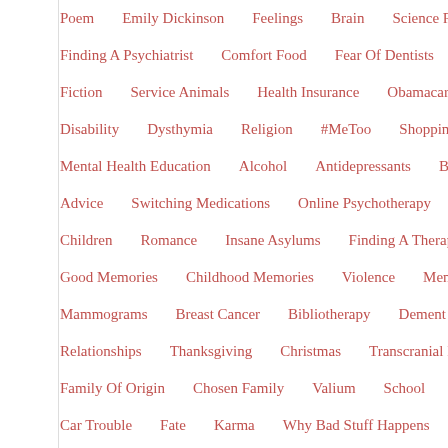Poem   Emily Dickinson   Feelings   Brain   Science Report
Finding A Psychiatrist   Comfort Food   Fear Of Dentists   Pa…
Fiction   Service Animals   Health Insurance   Obamacare
Disability   Dysthymia   Religion   #MeToo   Shopping   A…
Mental Health Education   Alcohol   Antidepressants   Book R…
Advice   Switching Medications   Online Psychotherapy   Chr…
Children   Romance   Insane Asylums   Finding A Therapist
Good Memories   Childhood Memories   Violence   Mental H…
Mammograms   Breast Cancer   Bibliotherapy   Dement Ors…
Relationships   Thanksgiving   Christmas   Transcranial Magn…
Family Of Origin   Chosen Family   Valium   School   Sheld…
Car Trouble   Fate   Karma   Why Bad Stuff Happens   The
Myths About Bipolar   Rapid Cycling   Police And The Mentally…
The Human Brain Physical Sensations In The Brain   Black Dog